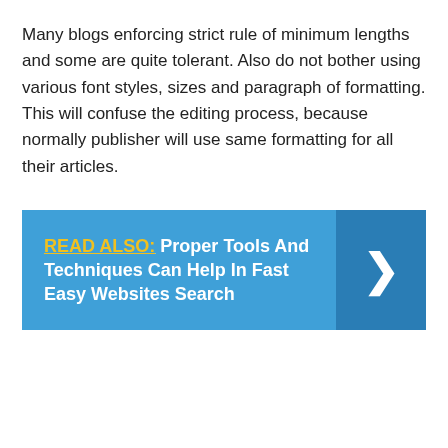Many blogs enforcing strict rule of minimum lengths and some are quite tolerant. Also do not bother using various font styles, sizes and paragraph of formatting. This will confuse the editing process, because normally publisher will use same formatting for all their articles.
READ ALSO: Proper Tools And Techniques Can Help In Fast Easy Websites Search